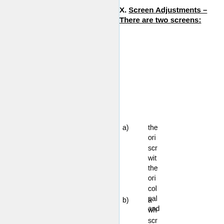X. Screen Adjustments – There are two screens:
a) the original screen with the original color palette and
b) a wh screen for ki